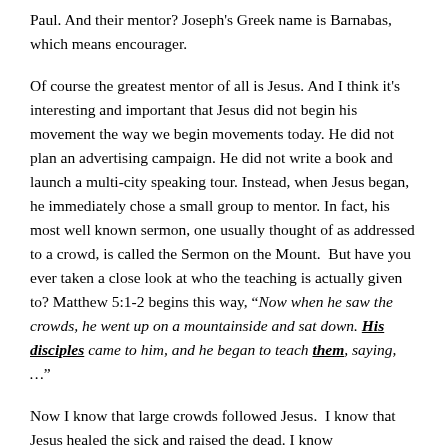Paul. And their mentor? Joseph's Greek name is Barnabas, which means encourager.
Of course the greatest mentor of all is Jesus. And I think it's interesting and important that Jesus did not begin his movement the way we begin movements today. He did not plan an advertising campaign. He did not write a book and launch a multi-city speaking tour. Instead, when Jesus began, he immediately chose a small group to mentor. In fact, his most well known sermon, one usually thought of as addressed to a crowd, is called the Sermon on the Mount.  But have you ever taken a close look at who the teaching is actually given to? Matthew 5:1-2 begins this way, “Now when he saw the crowds, he went up on a mountainside and sat down. His disciples came to him, and he began to teach them, saying, …”
Now I know that large crowds followed Jesus.  I know that Jesus healed the sick and raised the dead. I know